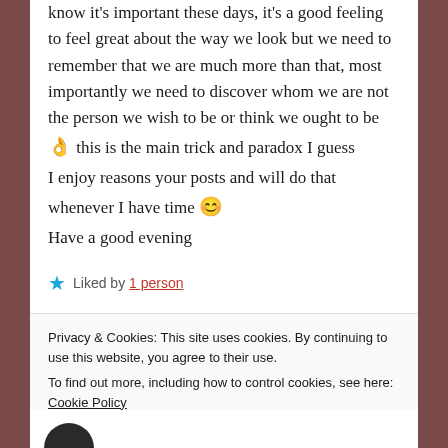know it's important these days, it's a good feeling to feel great about the way we look but we need to remember that we are much more than that, most importantly we need to discover whom we are not the person we wish to be or think we ought to be 👌 this is the main trick and paradox I guess
I enjoy reasons your posts and will do that whenever I have time 😊
Have a good evening
★ Liked by 1 person
Privacy & Cookies: This site uses cookies. By continuing to use this website, you agree to their use. To find out more, including how to control cookies, see here: Cookie Policy
Close and accept